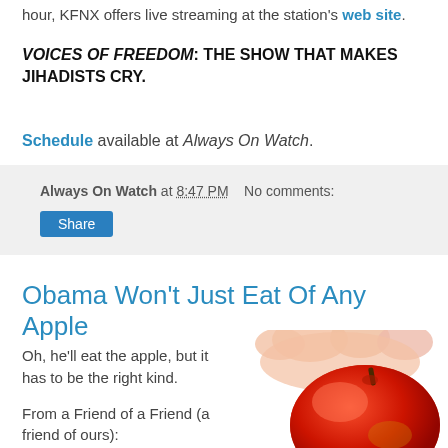hour, KFNX offers live streaming at the station's web site.
VOICES OF FREEDOM: THE SHOW THAT MAKES JIHADISTS CRY.
Schedule available at Always On Watch.
Always On Watch at 8:47 PM   No comments:
Share
Obama Won't Just Eat Of Any Apple
Oh, he'll eat the apple, but it has to be the right kind.
From a Friend of a Friend (a friend of ours):
[Figure (photo): A hand holding a red apple from above, close-up photo.]